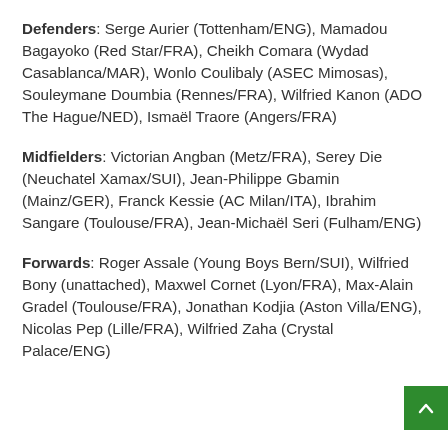Defenders: Serge Aurier (Tottenham/ENG), Mamadou Bagayoko (Red Star/FRA), Cheikh Comara (Wydad Casablanca/MAR), Wonlo Coulibaly (ASEC Mimosas), Souleymane Doumbia (Rennes/FRA), Wilfried Kanon (ADO The Hague/NED), Ismaël Traore (Angers/FRA)
Midfielders: Victorian Angban (Metz/FRA), Serey Die (Neuchatel Xamax/SUI), Jean-Philippe Gbamin (Mainz/GER), Franck Kessie (AC Milan/ITA), Ibrahim Sangare (Toulouse/FRA), Jean-Michaël Seri (Fulham/ENG)
Forwards: Roger Assale (Young Boys Bern/SUI), Wilfried Bony (unattached), Maxwel Cornet (Lyon/FRA), Max-Alain Gradel (Toulouse/FRA), Jonathan Kodjia (Aston Villa/ENG), Nicolas Pep (Lille/FRA), Wilfried Zaha (Crystal Palace/ENG)